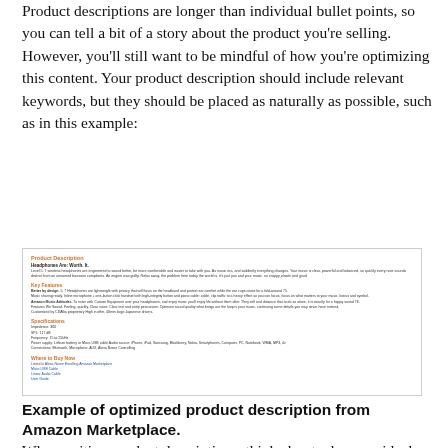Product descriptions are longer than individual bullet points, so you can tell a bit of a story about the product you're selling. However, you'll still want to be mindful of how you're optimizing this content. Your product description should include relevant keywords, but they should be placed as naturally as possible, such as in this example:
[Figure (screenshot): Screenshot of an Amazon product listing page showing a product description section with orange headings for 'Product Description', 'Key Features', 'Specifications', and 'Where to Buy'. Text is small and partially readable.]
Example of optimized product description from Amazon Marketplace.
When writing product descriptions, think about who your ideal shoppers are and